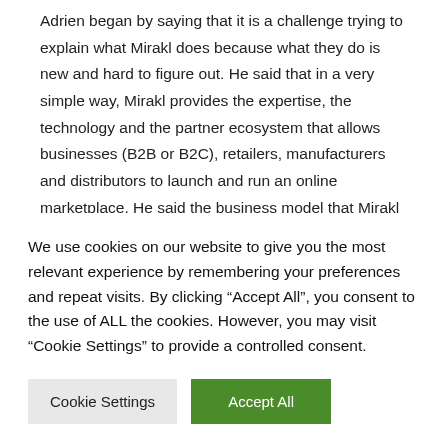Adrien began by saying that it is a challenge trying to explain what Mirakl does because what they do is new and hard to figure out. He said that in a very simple way, Mirakl provides the expertise, the technology and the partner ecosystem that allows businesses (B2B or B2C), retailers, manufacturers and distributors to launch and run an online marketplace. He said the business model that Mirakl power is different. Adrien explained that for decades, commerce has been a very simple business model where a company manufactures or buys products and then sells them and they make money by the price. However, digital has emerged over the last 20 years, the world has seen the emergence of a new business model which people call
We use cookies on our website to give you the most relevant experience by remembering your preferences and repeat visits. By clicking "Accept All", you consent to the use of ALL the cookies. However, you may visit "Cookie Settings" to provide a controlled consent.